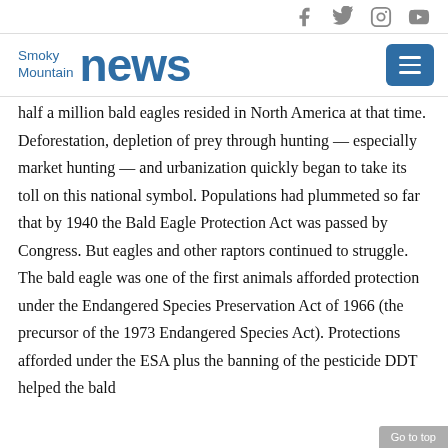Social media icons: Facebook, Twitter, Instagram, YouTube
[Figure (logo): Smoky Mountain News logo with menu button]
half a million bald eagles resided in North America at that time. Deforestation, depletion of prey through hunting — especially market hunting — and urbanization quickly began to take its toll on this national symbol. Populations had plummeted so far that by 1940 the Bald Eagle Protection Act was passed by Congress. But eagles and other raptors continued to struggle. The bald eagle was one of the first animals afforded protection under the Endangered Species Preservation Act of 1966 (the precursor of the 1973 Endangered Species Act). Protections afforded under the ESA plus the banning of the pesticide DDT helped the bald